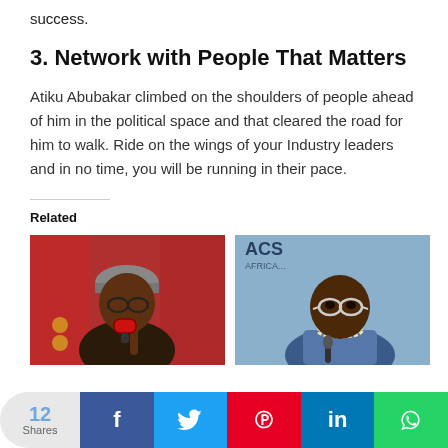success.
3. Network with People That Matters
Atiku Abubakar climbed on the shoulders of people ahead of him in the political space and that cleared the road for him to walk. Ride on the wings of your Industry leaders and in no time, you will be running in their pace.
Related
[Figure (photo): Photo of Atiku Abubakar speaking into a red microphone, with a red background]
[Figure (photo): Photo of Olusegun Obasanjo wearing glasses and a blue outfit, at a press conference]
12 Shares